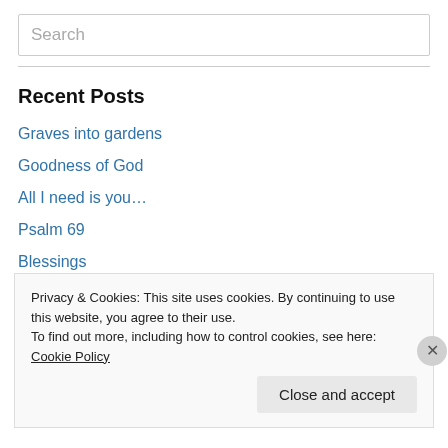Search
Recent Posts
Graves into gardens
Goodness of God
All I need is you…
Psalm 69
Blessings
Privacy & Cookies: This site uses cookies. By continuing to use this website, you agree to their use. To find out more, including how to control cookies, see here: Cookie Policy
Close and accept